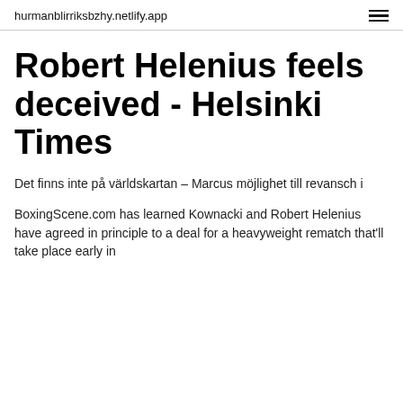hurmanblirriksbzhy.netlify.app
Robert Helenius feels deceived - Helsinki Times
Det finns inte på världskartan – Marcus möjlighet till revansch i
BoxingScene.com has learned Kownacki and Robert Helenius have agreed in principle to a deal for a heavyweight rematch that'll take place early in